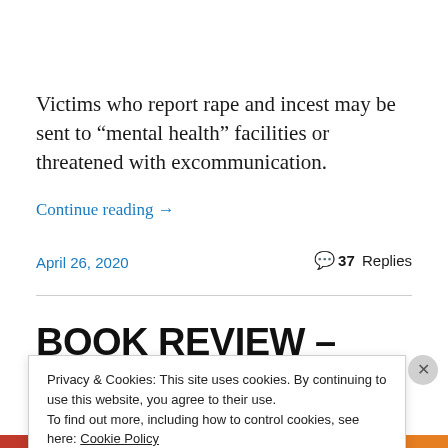Victims who report rape and incest may be sent to “mental health” facilities or threatened with excommunication.
Continue reading →
April 26, 2020
37 Replies
BOOK REVIEW – Climbing
Privacy & Cookies: This site uses cookies. By continuing to use this website, you agree to their use.
To find out more, including how to control cookies, see here: Cookie Policy
Close and accept